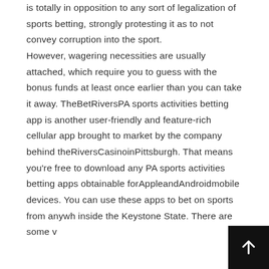is totally in opposition to any sort of legalization of sports betting, strongly protesting it as to not convey corruption into the sport.
However, wagering necessities are usually attached, which require you to guess with the bonus funds at least once earlier than you can take it away. TheBetRiversPA sports activities betting app is another user-friendly and feature-rich cellular app brought to market by the company behind theRiversCasinoinPittsburgh. That means you're free to download any PA sports activities betting apps obtainable forAppleandAndroidmobile devices. You can use these apps to bet on sports from anywhere inside the Keystone State. There are some v